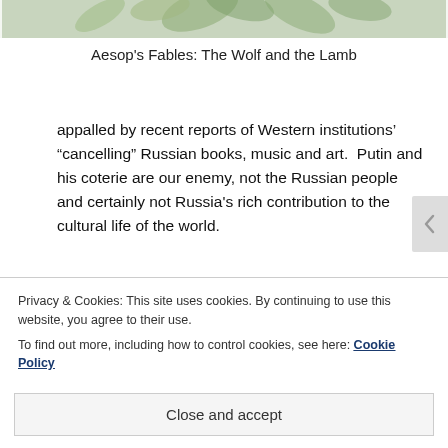[Figure (illustration): Partial decorative image showing leaves/foliage, cropped at top of page]
Aesop's Fables: The Wolf and the Lamb
appalled by recent reports of Western institutions' “cancelling” Russian books, music and art.  Putin and his coterie are our enemy, not the Russian people and certainly not Russia's rich contribution to the cultural life of the world.
Putin has lied to his people and to his own army.  True, he is mining a rich vein of nationalism and fear born of past invasions from the west, but few Russians would have supported the brutal assault on peaceable fellow-Slavs if
Privacy & Cookies: This site uses cookies. By continuing to use this website, you agree to their use.
To find out more, including how to control cookies, see here: Cookie Policy
Close and accept